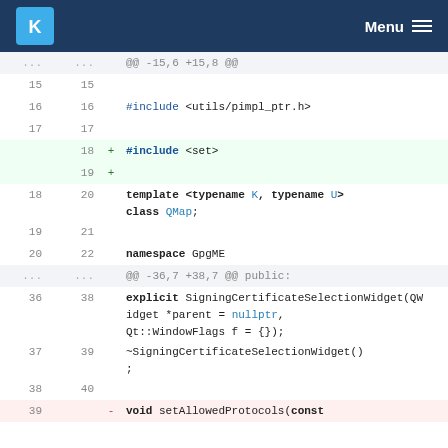KDE Menu
[Figure (screenshot): Code diff view showing changes to a C++ header file. Lines 15-22 and 36-40 are shown. Two lines are added (lines 18-19 in new version): #include <set> and a blank line. Line 39 in old version shows a removed line starting with void setAllowedProtocols(const.]
@@ -15,6 +15,8 @@
15  15
16  16  #include <utils/pimpl_ptr.h>
17  17
    18  + #include <set>
    19  +
18  20  template <typename K, typename U>
        class QMap;
19  21
20  22  namespace GpgME
... ... @@ -36,7 +38,7 @@ public:
36  38  explicit SigningCertificateSelectionWidget(QWidget *parent = nullptr,
        Qt::WindowFlags f = {});
37  39  ~SigningCertificateSelectionWidget();
38  40
39     - void setAllowedProtocols(const